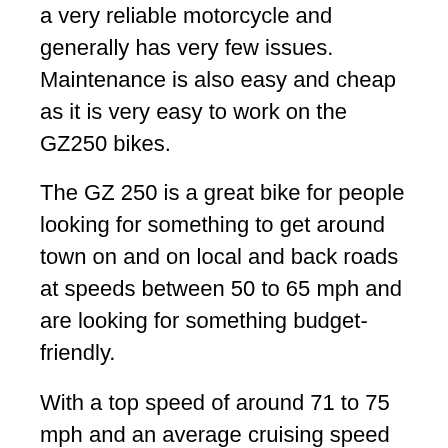a very reliable motorcycle and generally has very few issues. Maintenance is also easy and cheap as it is very easy to work on the GZ250 bikes.
The GZ 250 is a great bike for people looking for something to get around town on and on local and back roads at speeds between 50 to 65 mph and are looking for something budget-friendly.
With a top speed of around 71 to 75 mph and an average cruising speed of 60 mph, the Suzuki GZ250 is definitely not among the most powerful motorcycles out there. So its